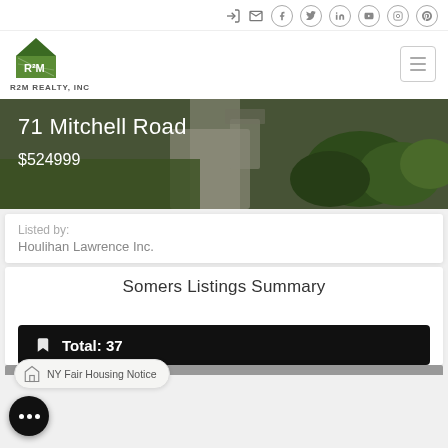R2M REALTY, INC — navigation icons: login, mail, facebook, twitter, linkedin, youtube, instagram, pinterest
[Figure (photo): Exterior photo of 71 Mitchell Road property showing landscaping, greenery, and a walkway]
71 Mitchell Road
$524999
Listed by:
Houlihan Lawrence Inc.
Somers Listings Summary
NY Fair Housing Notice
Total: 37